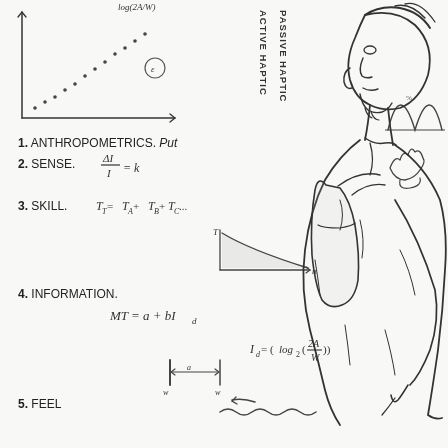[Figure (illustration): Hand-drawn sketch/whiteboard notes showing a person viewed from the side (profile, with backpack), standing in front of a whiteboard. The whiteboard contains: a scatter plot graph in top-left with label 'log(2A/W)', vertical labels 'ACTIVE HAPTIC' and 'PASSIVE HAPTIC', and a numbered list: 1. ANTHROPOMETRICS. Put [bell curve drawing], 2. SENSE. ΔI/I = k [hand drawing], 3. SKILL. T_T = T_A + T_B + T_C... [learning curve graph], 4. INFORMATION. MT = a + bId, Id = (log2(2A/W)), with a diagram showing distance/width, 5. FEEL [wavy line drawing with arrow]. The person is drawn in pencil sketch style.]